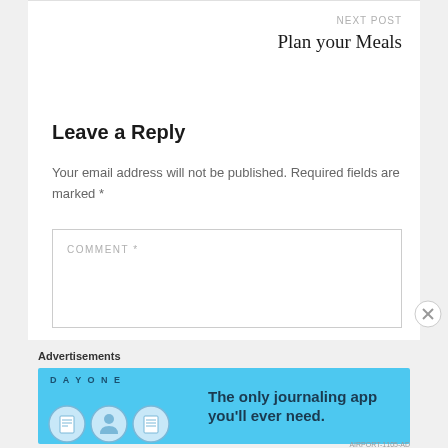NEXT POST
Plan your Meals
Leave a Reply
Your email address will not be published. Required fields are marked *
COMMENT *
Advertisements
[Figure (infographic): DayOne journaling app advertisement banner: blue background with DAYONE text, three icons (notebook, person, list), and text 'The only journaling app you'll ever need.']